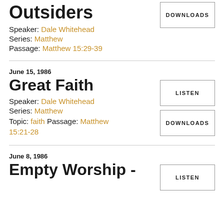Outsiders
Speaker: Dale Whitehead
Series: Matthew
Passage: Matthew 15:29-39
June 15, 1986
Great Faith
Speaker: Dale Whitehead
Series: Matthew
Topic: faith Passage: Matthew 15:21-28
June 8, 1986
Empty Worship -